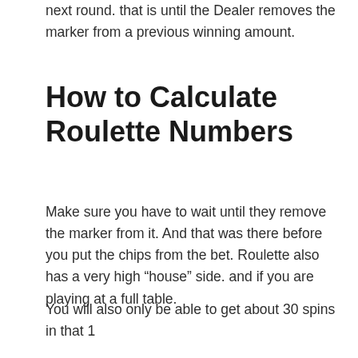next round. that is until the Dealer removes the marker from a previous winning amount.
How to Calculate Roulette Numbers
Make sure you have to wait until they remove the marker from it. And that was there before you put the chips from the bet. Roulette also has a very high “house” side. and if you are playing at a full table.
You will also only be able to get about 30 spins in that 1 hour which may also be able to slow down your money to be able to get the side of the Roulette “house”. If there is a number that you really want to bet on, it is already covered with another chip.